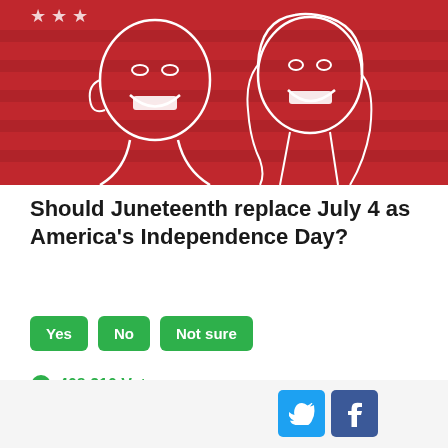[Figure (illustration): Red background illustration with white line drawings of two people smiling, with star patterns suggesting a patriotic/American flag theme]
Should Juneteenth replace July 4 as America's Independence Day?
Yes  No  Not sure
408,210 Votes
[Figure (photo): Photo of Donald Trump speaking at a podium with a microphone against a blue background]
[Figure (other): Twitter and Facebook share buttons at the bottom right]